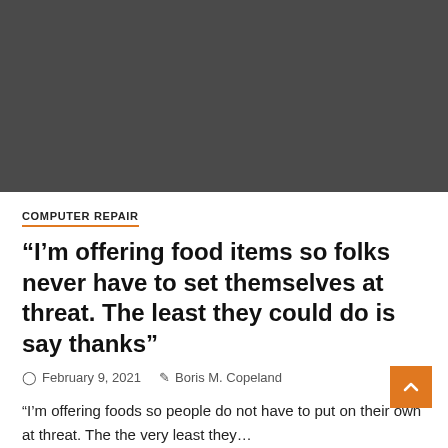[Figure (photo): Dark grey/charcoal colored image placeholder rectangle at the top of the page]
COMPUTER REPAIR
“I’m offering food items so folks never have to set themselves at threat. The least they could do is say thanks”
February 9, 2021   Boris M. Copeland
“I’m offering foods so people do not have to put on their own at threat. The the very least they…